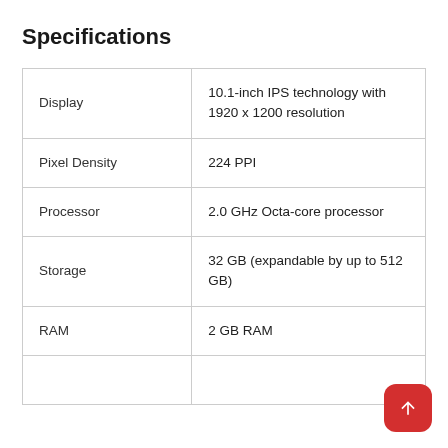Specifications
| Display | 10.1-inch IPS technology with 1920 x 1200 resolution |
| Pixel Density | 224 PPI |
| Processor | 2.0 GHz Octa-core processor |
| Storage | 32 GB (expandable by up to 512 GB) |
| RAM | 2 GB RAM |